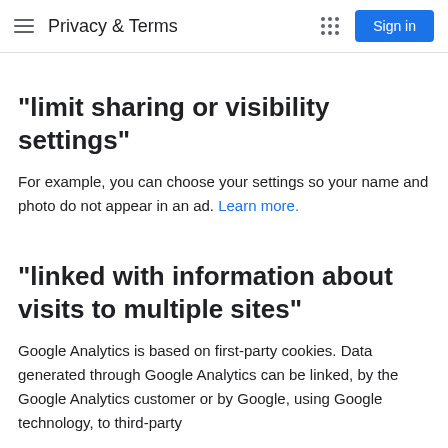Privacy & Terms | Sign in
"limit sharing or visibility settings"
For example, you can choose your settings so your name and photo do not appear in an ad. Learn more.
"linked with information about visits to multiple sites"
Google Analytics is based on first-party cookies. Data generated through Google Analytics can be linked, by the Google Analytics customer or by Google, using Google technology, to third-party